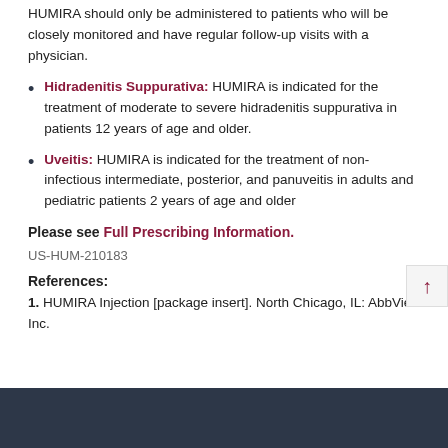HUMIRA should only be administered to patients who will be closely monitored and have regular follow-up visits with a physician.
Hidradenitis Suppurativa: HUMIRA is indicated for the treatment of moderate to severe hidradenitis suppurativa in patients 12 years of age and older.
Uveitis: HUMIRA is indicated for the treatment of non-infectious intermediate, posterior, and panuveitis in adults and pediatric patients 2 years of age and older
Please see Full Prescribing Information.
US-HUM-210183
References:
1. HUMIRA Injection [package insert]. North Chicago, IL: AbbVie Inc.